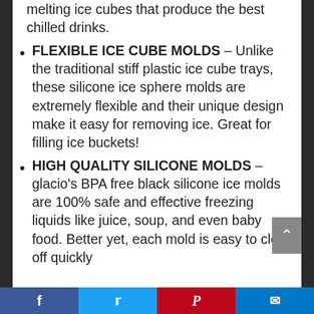melting ice cubes that produce the best chilled drinks.
FLEXIBLE ICE CUBE MOLDS – Unlike the traditional stiff plastic ice cube trays, these silicone ice sphere molds are extremely flexible and their unique design make it easy for removing ice. Great for filling ice buckets!
HIGH QUALITY SILICONE MOLDS – glacio's BPA free black silicone ice molds are 100% safe and effective freezing liquids like juice, soup, and even baby food. Better yet, each mold is easy to clean off quickly